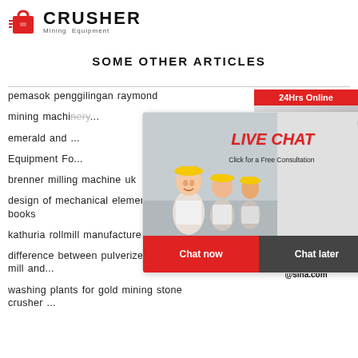[Figure (logo): Crusher Mining Equipment logo with red shopping bag icon and bold text]
SOME OTHER ARTICLES
pemasok penggilingan raymond
mining machi...
emerald and ...
Equipment Fo...
brenner milling machine uk
design of mechanical elements free e books
kathuria rollmill manufacturers
difference between pulverizer mining mill and...
washing plants for gold mining stone crusher ...
[Figure (screenshot): Live Chat popup overlay with workers in yellow hard hats, LIVE CHAT red italic text, 'Click for a Free Consultation', Chat now (red) and Chat later (dark) buttons]
[Figure (screenshot): Right sidebar with 24Hrs Online banner, customer service representative photo with headset, Need questions & suggestion?, Chat Now button, Enquiry section, limingjlmofen@sina.com email]